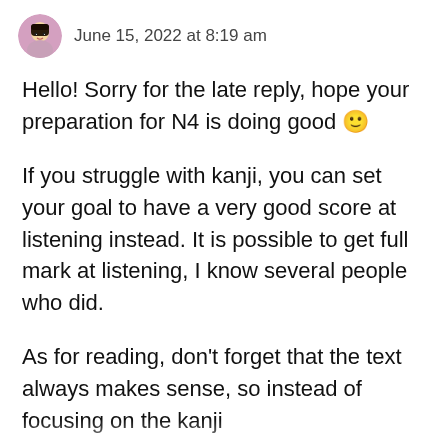June 15, 2022 at 8:19 am
Hello! Sorry for the late reply, hope your preparation for N4 is doing good 🙂
If you struggle with kanji, you can set your goal to have a very good score at listening instead. It is possible to get full mark at listening, I know several people who did.
As for reading, don't forget that the text always makes sense, so instead of focusing on the kanji